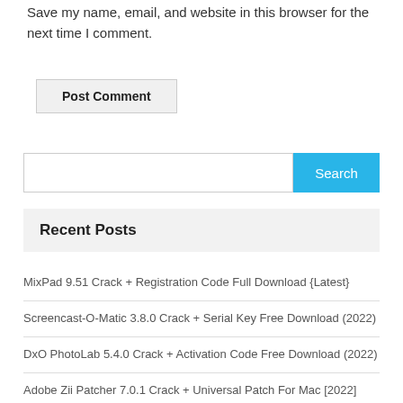Save my name, email, and website in this browser for the next time I comment.
Post Comment
[Figure (screenshot): Search bar with text input field and blue Search button]
Recent Posts
MixPad 9.51 Crack + Registration Code Full Download {Latest}
Screencast-O-Matic 3.8.0 Crack + Serial Key Free Download (2022)
DxO PhotoLab 5.4.0 Crack + Activation Code Free Download (2022)
Adobe Zii Patcher 7.0.1 Crack + Universal Patch For Mac [2022]
Audio Ease Altiverb 7 XL 7.4.8 Crack (Mac) For Torrent Free Download